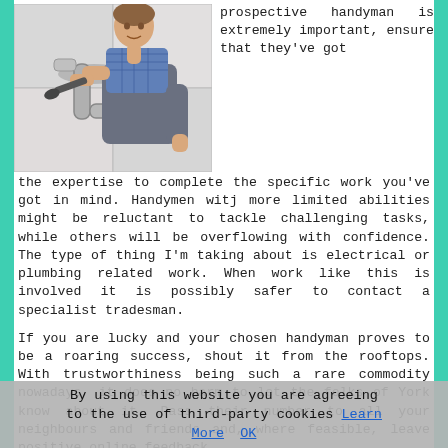[Figure (photo): A plumber/handyman working under a sink, wearing a blue plaid shirt and grey overalls, using a wrench on pipes.]
prospective handyman is extremely important, ensure that they've got the expertise to complete the specific work you've got in mind. Handymen witj more limited abilities might be reluctant to tackle challenging tasks, while others will be overflowing with confidence. The type of thing I'm taking about is electrical or plumbing related work. When work like this is involved it is possibly safer to contact a specialist tradesman.
If you are lucky and your chosen handyman proves to be a roaring success, shout it from the rooftops. With trustworthiness being such a rare commodity nowadays, it does no harm to let the folks of York know about it. Pass their number to all your neighbours and friends and, where feasible, leave positive online feedback.
[Figure (infographic): A teal/cyan call-to-action button with bold green text reading: CLICK HERE FOR A QUOTE >>]
By using this website you are agreeing to the use of third-party cookies Learn More  OK